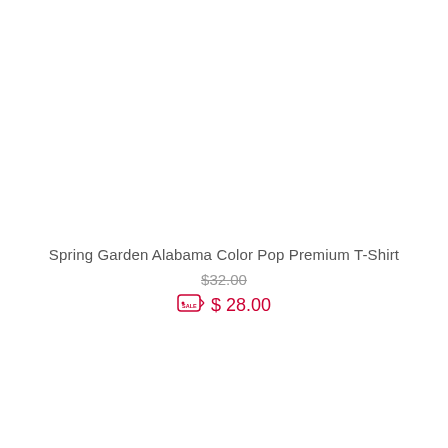Spring Garden Alabama Color Pop Premium T-Shirt
$32.00 (strikethrough original price)
$ 28.00 (sale price with sale tag icon)